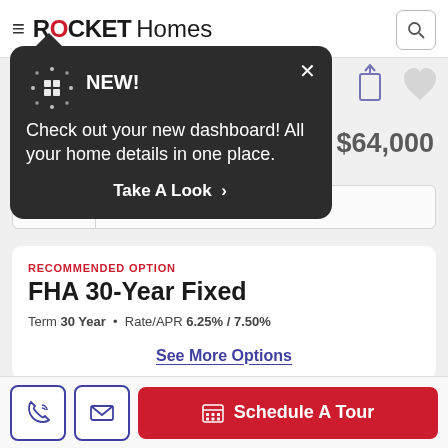ROCKET Homes
[Figure (screenshot): Rocket Homes app screenshot with a dark tooltip popup saying NEW! Check out your new dashboard! All your home details in one place. Take A Look >. Behind the popup: share and heart icons, $64,000 price, Your Down Payment field showing $12,800 and 20%, a Recommended Option card for FHA 30-Year Fixed, Term 30 Year, Rate/APR 6.25% / 7.50%, See More Options link, and a bottom bar with phone, email, and Schedule A Tour buttons.]
NEW! Check out your new dashboard! All your home details in one place.
Take A Look >
$64,000
Your Down Payment
$ 12,800
20 %
RECOMMENDED OPTION
FHA 30-Year Fixed
Term 30 Year  •  Rate/APR 6.25% / 7.50%
See More Options
Schedule A Tour